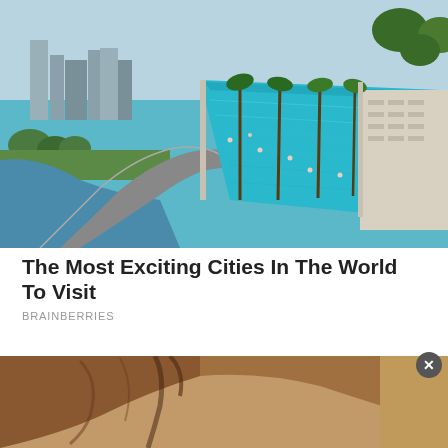[Figure (photo): Aerial view of Marina Bay Sands Singapore rooftop infinity pool and skyline with highways and river]
The Most Exciting Cities In The World To Visit
BRAINBERRIES
[Figure (photo): Interior wooden ceiling corner detail, close-up shot]